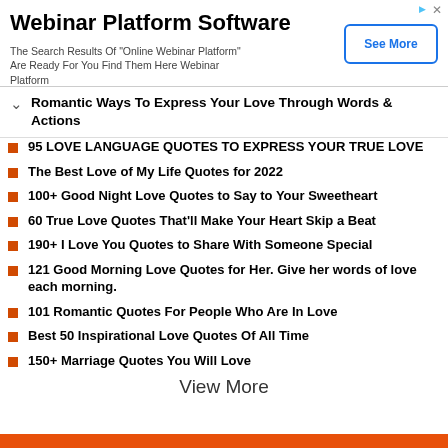[Figure (other): Advertisement banner for Webinar Platform Software with 'See More' button]
Romantic Ways To Express Your Love Through Words & Actions
95 LOVE LANGUAGE QUOTES TO EXPRESS YOUR TRUE LOVE
The Best Love of My Life Quotes for 2022
100+ Good Night Love Quotes to Say to Your Sweetheart
60 True Love Quotes That'll Make Your Heart Skip a Beat
190+ I Love You Quotes to Share With Someone Special
121 Good Morning Love Quotes for Her. Give her words of love each morning.
101 Romantic Quotes For People Who Are In Love
Best 50 Inspirational Love Quotes Of All Time
150+ Marriage Quotes You Will Love
View More